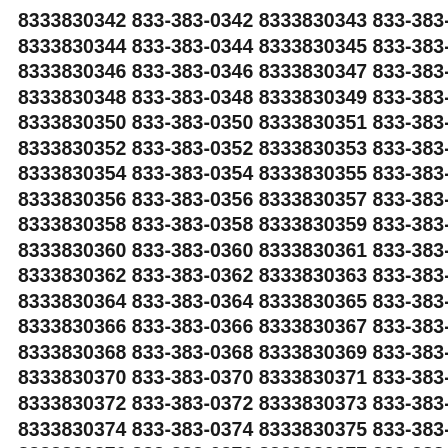8333830342 833-383-0342 8333830343 833-383-0343 8333830344 833-383-0344 8333830345 833-383-0345 8333830346 833-383-0346 8333830347 833-383-0347 8333830348 833-383-0348 8333830349 833-383-0349 8333830350 833-383-0350 8333830351 833-383-0351 8333830352 833-383-0352 8333830353 833-383-0353 8333830354 833-383-0354 8333830355 833-383-0355 8333830356 833-383-0356 8333830357 833-383-0357 8333830358 833-383-0358 8333830359 833-383-0359 8333830360 833-383-0360 8333830361 833-383-0361 8333830362 833-383-0362 8333830363 833-383-0363 8333830364 833-383-0364 8333830365 833-383-0365 8333830366 833-383-0366 8333830367 833-383-0367 8333830368 833-383-0368 8333830369 833-383-0369 8333830370 833-383-0370 8333830371 833-383-0371 8333830372 833-383-0372 8333830373 833-383-0373 8333830374 833-383-0374 8333830375 833-383-0375 8333830376 833-383-0376 8333830377 833-383-0377 8333830378 833-383-0378 8333830379 833-383-0379